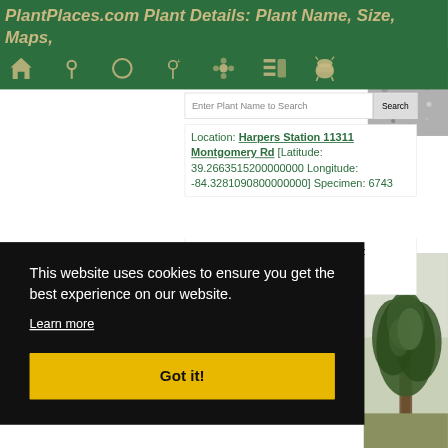PlantPlaces.com Plant Details: Plant Name, Size, Maps, Comments
[Figure (screenshot): Navigation icon bar with home, location pin, circle, map pin, flower/settings, list, and Android icons on green background]
Enter Plant Name to Search
Location: Harpers Station 11311 Montgomery Rd [Latitude: 39.2663515200000000 Longitude: -84.3281090800000000] Specimen: 6743
Location: Vienna, Austria [Latitude: ... Longitude: ... Specimen: ...
[Figure (photo): Tree photograph in bottom right corner]
This website uses cookies to ensure you get the best experience on our website.
Learn more
Got it!